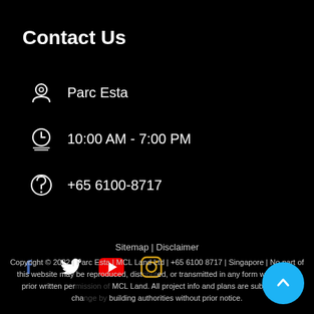Contact Us
Parc Esta
10:00 AM - 7:00 PM
+65 6100-8717
[Figure (illustration): Social media icons: Facebook (blue), Twitter (white), YouTube (red), Instagram (gold/yellow)]
Sitemap | Disclaimer
Copyright © 2022 | Parc Esta | MCL Land Ltd | +65 6100 8717 | Singapore | No part of this website may be reproduced, distributed, or transmitted in any form without the prior written permission of MCL Land. All project info and plans are subjected to change by building authorities without prior notice.